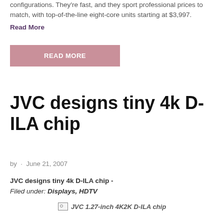configurations. They're fast, and they sport professional prices to match, with top-of-the-line eight-core units starting at $3,997.
Read More
[Figure (other): Pink/mauve 'READ MORE' button]
JVC designs tiny 4k D-ILA chip
by · June 21, 2007
JVC designs tiny 4k D-ILA chip -
Filed under: Displays, HDTV
[Figure (photo): JVC 1.27-inch 4K2K D-ILA chip (broken image placeholder)]